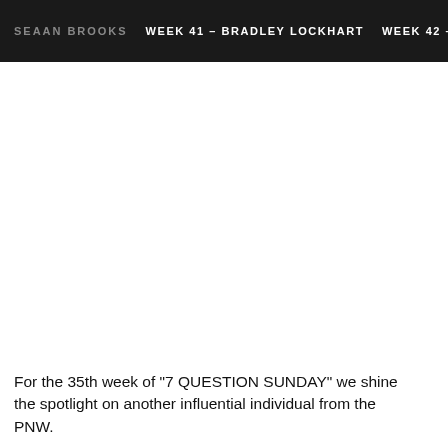SEAAN BROOKS   WEEK 41 – BRADLEY LOCKHART   WEEK 42 –
For the 35th week of "7 QUESTION SUNDAY" we shine the spotlight on another influential individual from the PNW. Clark Pacific Northwest the area being in the Mckie...